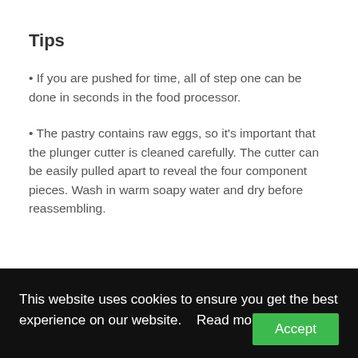Tips
If you are pushed for time, all of step one can be done in seconds in the food processor.
The pastry contains raw eggs, so it’s important that the plunger cutter is cleaned carefully. The cutter can be easily pulled apart to reveal the four component pieces. Wash in warm soapy water and dry before reassembling.
This website uses cookies to ensure you get the best experience on our website.    Read more  Accept